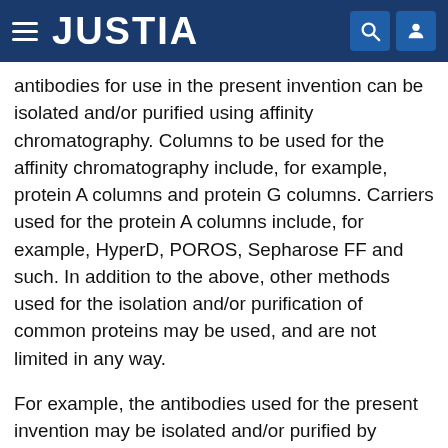JUSTIA
antibodies for use in the present invention can be isolated and/or purified using affinity chromatography. Columns to be used for the affinity chromatography include, for example, protein A columns and protein G columns. Carriers used for the protein A columns include, for example, HyperD, POROS, Sepharose FF and such. In addition to the above, other methods used for the isolation and/or purification of common proteins may be used, and are not limited in any way.
For example, the antibodies used for the present invention may be isolated and/or purified by appropriately selecting and combining chromatographies in addition to affinity chromatography, filters, ultrafiltration, salting-out, dialysis, and such. Chromatographies include, for example, ion-exchange chromatography, hydrophobic